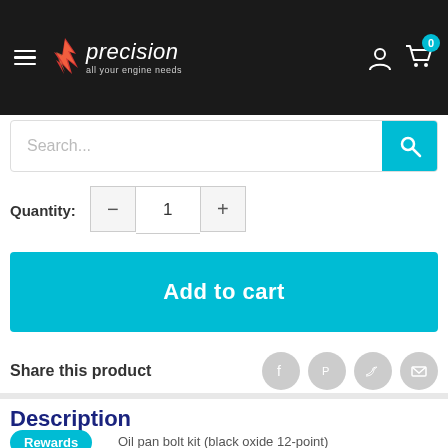[Figure (logo): Precision logo with flame icon and tagline 'all your engine needs' on black navigation bar with hamburger menu, user icon, and cart icon showing badge 0]
[Figure (screenshot): Search bar with placeholder text 'Search...' and teal search button]
Quantity: 1
[Figure (screenshot): Add to cart teal button]
Share this product
[Figure (screenshot): Social share icons: Facebook, Pinterest, Twitter, Email]
Description
Oil pan bolt kit (black oxide 12-point)